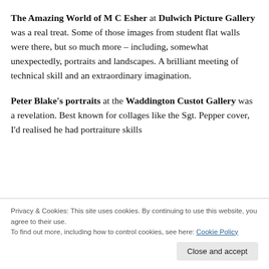The Amazing World of M C Esher at Dulwich Picture Gallery was a real treat. Some of those images from student flat walls were there, but so much more – including, somewhat unexpectedly, portraits and landscapes. A brilliant meeting of technical skill and an extraordinary imagination.
Peter Blake's portraits at the Waddington Custot Gallery was a revelation. Best known for collages like the Sgt. Pepper cover, I'd realised he had portraiture skills
Privacy & Cookies: This site uses cookies. By continuing to use this website, you agree to their use.
To find out more, including how to control cookies, see here: Cookie Policy